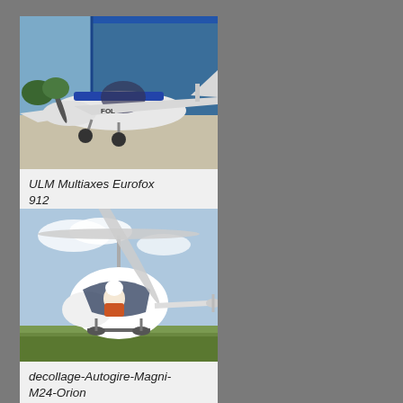[Figure (photo): Photo of a blue and white ULM Multiaxes Eurofox 912 light aircraft on the ground in front of a hangar.]
ULM Multiaxes Eurofox 912
[Figure (photo): Photo of a white Autogire Magni M24 Orion gyroplane taking off or hovering low over a grassy field with a pilot inside.]
decollage-Autogire-Magni-M24-Orion